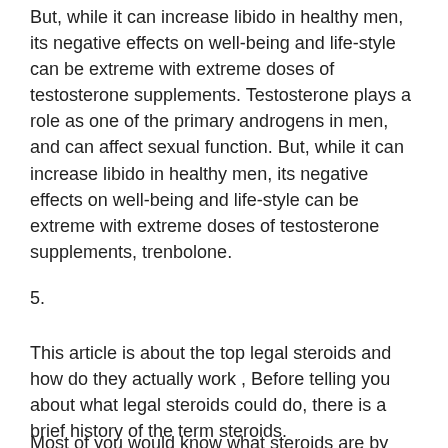But, while it can increase libido in healthy men, its negative effects on well-being and life-style can be extreme with extreme doses of testosterone supplements. Testosterone plays a role as one of the primary androgens in men, and can affect sexual function. But, while it can increase libido in healthy men, its negative effects on well-being and life-style can be extreme with extreme doses of testosterone supplements, trenbolone.
5.
This article is about the top legal steroids and how do they actually work , Before telling you about what legal steroids could do, there is a brief history of the term steroids.
Most of you would know what steroids are by now, and most of you would understand why